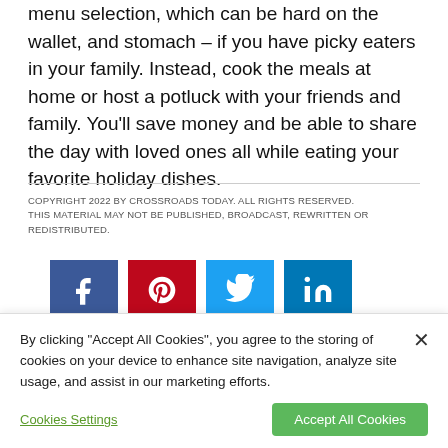menu selection, which can be hard on the wallet, and stomach – if you have picky eaters in your family. Instead, cook the meals at home or host a potluck with your friends and family. You'll save money and be able to share the day with loved ones all while eating your favorite holiday dishes.
COPYRIGHT 2022 BY CROSSROADS TODAY. ALL RIGHTS RESERVED. THIS MATERIAL MAY NOT BE PUBLISHED, BROADCAST, REWRITTEN OR REDISTRIBUTED.
[Figure (other): Social sharing buttons for Facebook, Pinterest, Twitter, and LinkedIn]
By clicking "Accept All Cookies", you agree to the storing of cookies on your device to enhance site navigation, analyze site usage, and assist in our marketing efforts.
Cookies Settings | Accept All Cookies